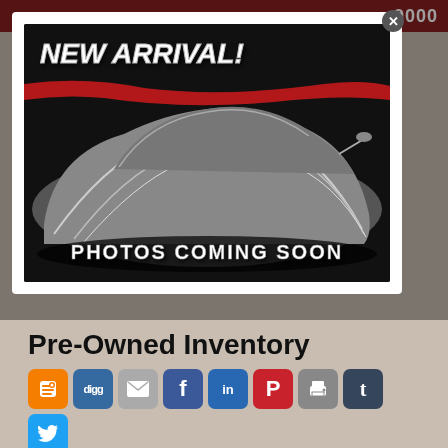[Figure (screenshot): Dealership website screenshot showing a modal popup with a 'New Arrival / Photos Coming Soon' car image overlay, with Pre-Owned Inventory section and social sharing icons below, and partial navigation bar at top.]
Pre-Owned Inventory
2013 Chevrolet Impala LS